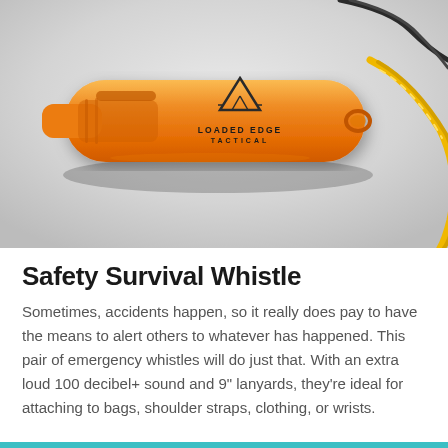[Figure (photo): Orange plastic safety whistle with 'LOADED EDGE TACTICAL' logo and triangle mountain graphic on a light gray background, with yellow braided lanyard cord and black cord attached]
Safety Survival Whistle
Sometimes, accidents happen, so it really does pay to have the means to alert others to whatever has happened. This pair of emergency whistles will do just that. With an extra loud 100 decibel+ sound and 9" lanyards, they're ideal for attaching to bags, shoulder straps, clothing, or wrists.